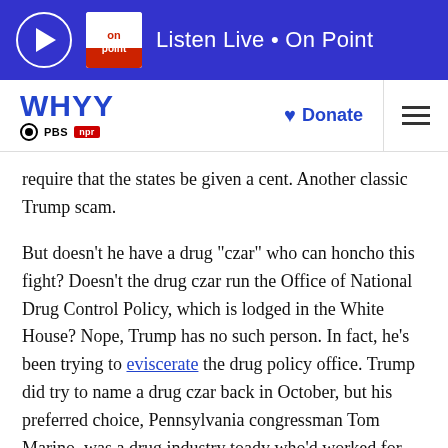Listen Live • On Point
[Figure (logo): WHYY PBS NPR logo with Donate button and hamburger menu]
require that the states be given a cent. Another classic Trump scam.
But doesn't he have a drug “czar” who can honcho this fight? Doesn't the drug czar run the Office of National Drug Control Policy, which is lodged in the White House? Nope, Trump has no such person. In fact, he's been trying to eviscerate the drug policy office. Trump did try to name a drug czar back in October, but his preferred choice, Pennsylvania congressman Tom Marino, was a drug industry toady who'd worked for years to undercut federal efforts to fight the opioid crisis. Marino withdrew his